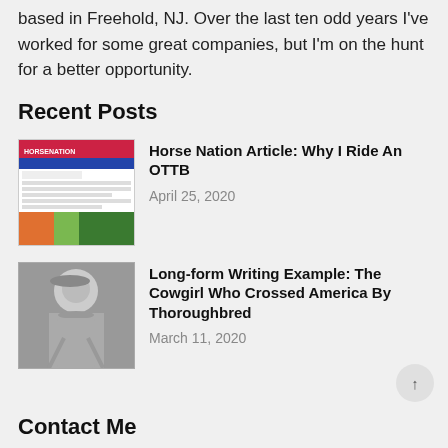based in Freehold, NJ. Over the last ten odd years I've worked for some great companies, but I'm on the hunt for a better opportunity.
Recent Posts
[Figure (screenshot): Thumbnail screenshot of Horse Nation article page showing red and blue header bar and green horse racing photo]
Horse Nation Article: Why I Ride An OTTB
April 25, 2020
[Figure (photo): Black and white photo of a cowgirl wearing a hat]
Long-form Writing Example: The Cowgirl Who Crossed America By Thoroughbred
March 11, 2020
Contact Me